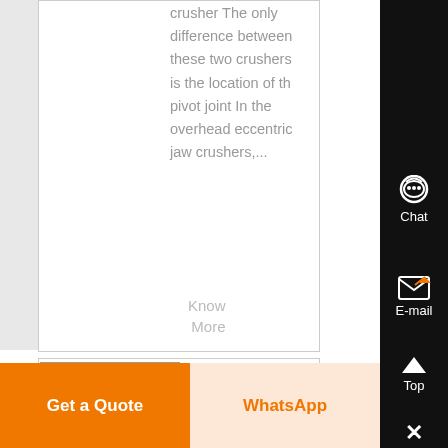crusher The only difference between these two crushers is the location of the pivot joint In the overhead eccentric jaw crushers,...
Know More
[Figure (photo): Partial view of a jaw crusher machine thumbnail]
Jaw
Get a Quote
WhatsApp